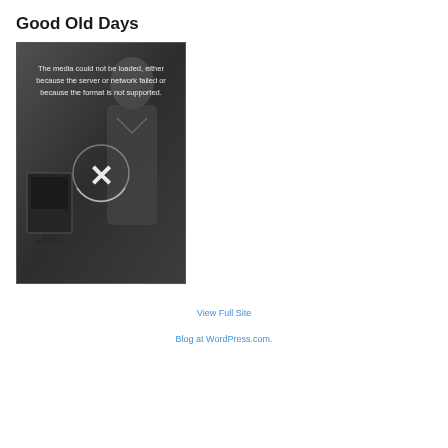Good Old Days
[Figure (screenshot): Video player showing an error message: 'The media could not be loaded, either because the server or network failed or because the format is not supported.' with an X icon over a dark grayscale image of a person near a computer monitor.]
View Full Site
Blog at WordPress.com.